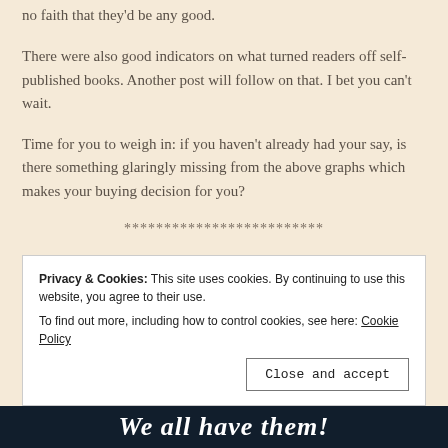no faith that they'd be any good.
There were also good indicators on what turned readers off self-published books. Another post will follow on that. I bet you can't wait.
Time for you to weigh in: if you haven't already had your say, is there something glaringly missing from the above graphs which makes your buying decision for you?
*************************
Privacy & Cookies: This site uses cookies. By continuing to use this website, you agree to their use.
To find out more, including how to control cookies, see here: Cookie Policy
We all have them!